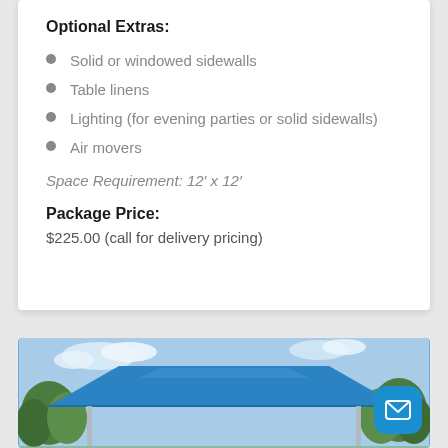Optional Extras:
Solid or windowed sidewalls
Table linens
Lighting (for evening parties or solid sidewalls)
Air movers
Space Requirement: 12′ x 12′
Package Price:
$225.00 (call for delivery pricing)
[Figure (photo): Blue canopy tent outdoors with trees and sky in background]